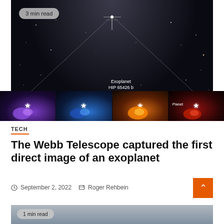[Figure (photo): JWST image of exoplanet HIP 65426 b — large main image showing star field with triangular diffraction artifact and label 'Exoplanet HIP 65426 b', plus four smaller sub-images in different wavelengths showing the planet as colored blobs with star markers]
3 min read
TECH
The Webb Telescope captured the first direct image of an exoplanet
September 2, 2022   Roger Rehbein
[Figure (photo): Partial bottom image with 1 min read badge, grey/overcast sky or water scene]
1 min read